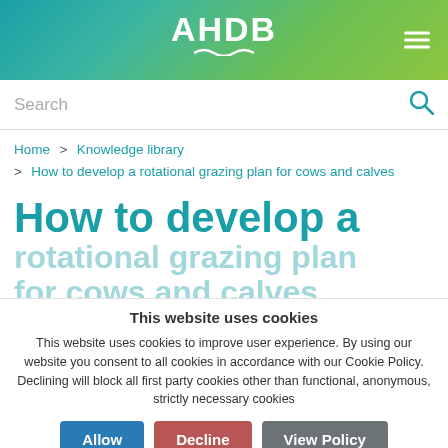AHDB
Search
Home > Knowledge library > How to develop a rotational grazing plan for cows and calves
How to develop a rotational grazing plan for cows and calves
This website uses cookies

This website uses cookies to improve user experience. By using our website you consent to all cookies in accordance with our Cookie Policy. Declining will block all first party cookies other than functional, anonymous, strictly necessary cookies

Allow | Decline | View Policy
Welcome to the rotational grazing system series for suckler producers